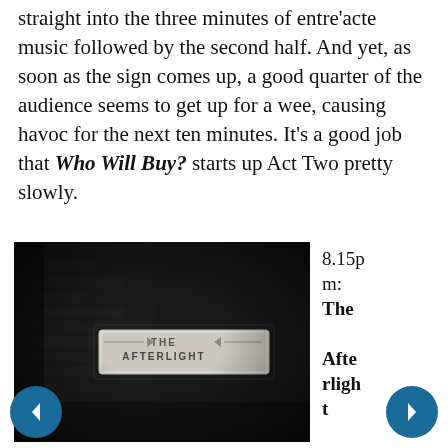straight into the three minutes of entre'acte music followed by the second half. And yet, as soon as the sign comes up, a good quarter of the audience seems to get up for a wee, causing havoc for the next ten minutes. It's a good job that Who Will Buy? starts up Act Two pretty slowly.
[Figure (photo): Black and white photo of a brick wall with a sign reading 'THE AFTERLIGHT' lit against a dark background]
8.15pm: The Afterlight [official site]